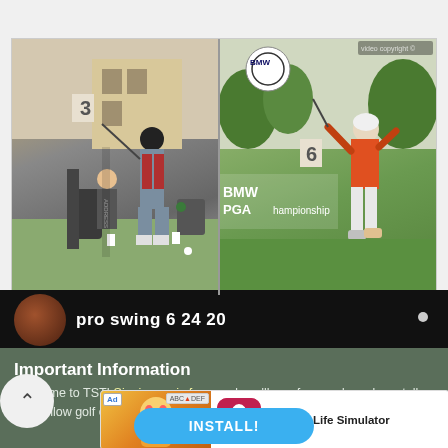[Figure (photo): Side-by-side golf swing comparison photos. Left: golfer from behind on a practice tee with a number 3 sign visible. Right: golfer in orange top at BMW PGA Championship, mid-swing follow-through.]
[Figure (screenshot): Video thumbnail strip showing a circular thumbnail image and partial text 'pro swing 6 21 20']
Important Information
Welcome to TST! Signing up is free, and you'll see fewer ads and can talk with fellow golf enthusiasts! By
[Figure (infographic): Advertisement banner for BitLife - Life Simulator app with install button]